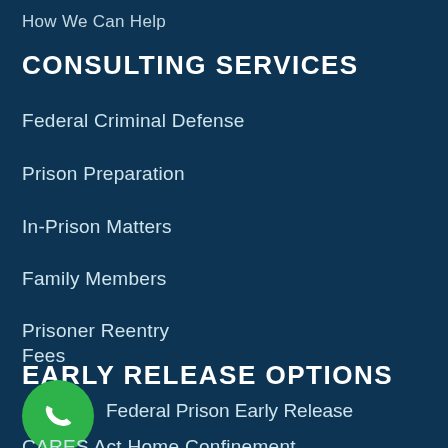How We Can Help
CONSULTING SERVICES
Federal Criminal Defense
Prison Preparation
In-Prison Matters
Family Members
Prisoner Reentry
Fees
EARLY RELEASE OPTIONS
[Figure (other): Green phone/call button icon (circular green button with white phone handset icon)]
Federal Prison Early Release
CARES Act Home Confinement